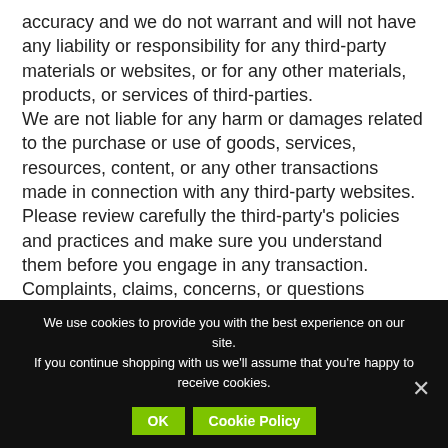accuracy and we do not warrant and will not have any liability or responsibility for any third-party materials or websites, or for any other materials, products, or services of third-parties. We are not liable for any harm or damages related to the purchase or use of goods, services, resources, content, or any other transactions made in connection with any third-party websites. Please review carefully the third-party's policies and practices and make sure you understand them before you engage in any transaction. Complaints, claims, concerns, or questions regarding third-party products should be directed to the third-party.
We use cookies to provide you with the best experience on our site. If you continue shopping with us we'll assume that you're happy to receive cookies.